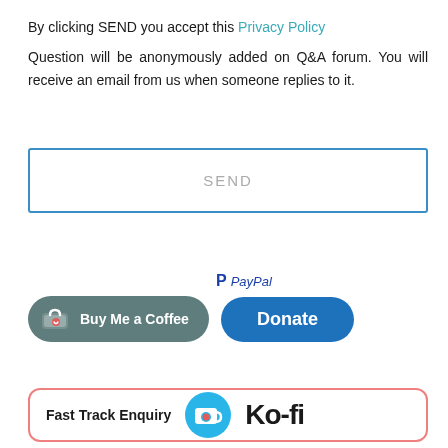By clicking SEND you accept this Privacy Policy
Question will be anonymously added on Q&A forum. You will receive an email from us when someone replies to it.
SEND
[Figure (infographic): Buy Me a Coffee button (dark teal rounded button with cup icon) and PayPal Donate button (blue rounded button) side by side]
[Figure (infographic): Fast Track Enquiry section with Ko-fi logo — red-bordered box with Ko-fi cup icon and Ko-fi text]